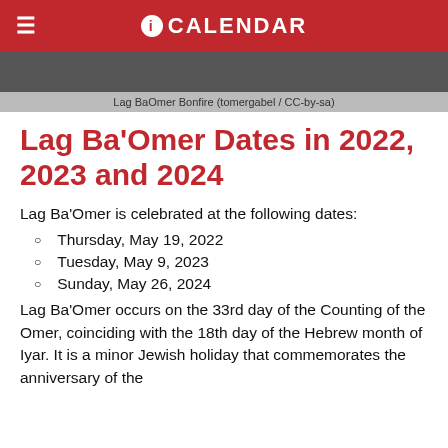iCALENDAR
[Figure (photo): Lag BaOmer Bonfire image with caption bar]
Lag BaOmer Bonfire (tomergabel / CC-by-sa)
Lag Ba'Omer Dates in 2022, 2023 and 2024
Lag Ba'Omer is celebrated at the following dates:
Thursday, May 19, 2022
Tuesday, May 9, 2023
Sunday, May 26, 2024
Lag Ba'Omer occurs on the 33rd day of the Counting of the Omer, coinciding with the 18th day of the Hebrew month of Iyar. It is a minor Jewish holiday that commemorates the anniversary of the